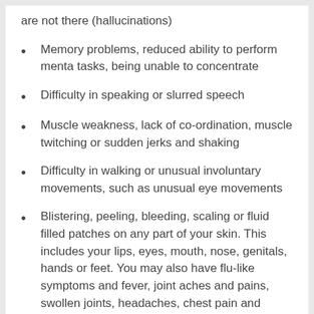are not there (hallucinations)
Memory problems, reduced ability to perform menta tasks, being unable to concentrate
Difficulty in speaking or slurred speech
Muscle weakness, lack of co-ordination, muscle twitching or sudden jerks and shaking
Difficulty in walking or unusual involuntary movements, such as unusual eye movements
Blistering, peeling, bleeding, scaling or fluid filled patches on any part of your skin. This includes your lips, eyes, mouth, nose, genitals, hands or feet. You may also have flu-like symptoms and fever, joint aches and pains, swollen joints, headaches, chest pain and